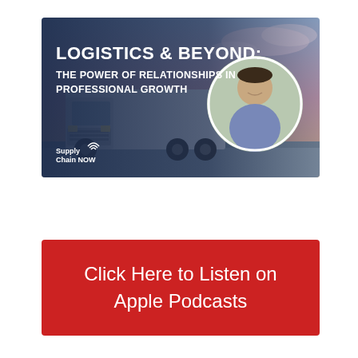[Figure (illustration): Podcast banner for 'Logistics & Beyond: The Power of Relationships in Professional Growth' on Supply Chain NOW, featuring a white semi-truck against a sunset sky background and a circular headshot of a smiling man in a blue shirt.]
Click Here to Listen on Apple Podcasts